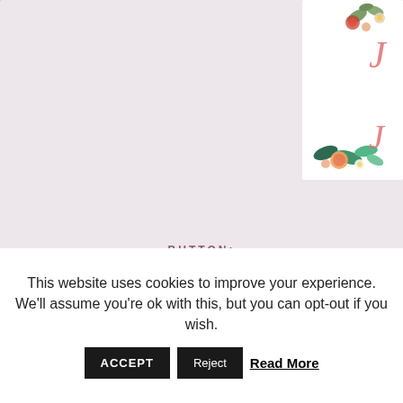[Figure (illustration): Background with light pink/lavender polka dot pattern and a floral book cover image in the top right corner showing flowers and a cursive letter J]
BUTTON:
[Figure (illustration): Decorative divider with arrows and floral/leaf ornament in mauve/dusty rose color]
[Figure (logo): Once Upon a Chapter logo button - teal/blue rectangle with woman silhouette reading and white old-English style text reading 'Once Upon a Chapter']
This website uses cookies to improve your experience. We'll assume you're ok with this, but you can opt-out if you wish.
ACCEPT   Reject   Read More